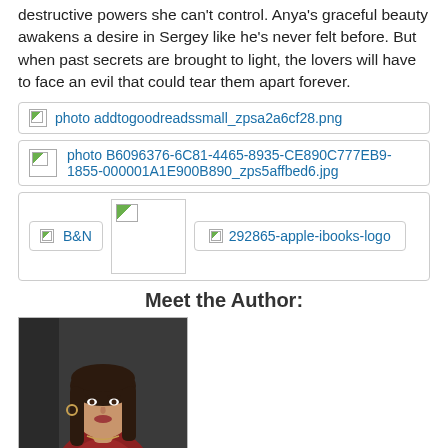destructive powers she can't control. Anya's graceful beauty awakens a desire in Sergey like he's never felt before. But when past secrets are brought to light, the lovers will have to face an evil that could tear them apart forever.
[Figure (other): Broken image placeholder for addtogoodreadssmall_zpsa2a6cf28.png with Add to Goodreads link]
[Figure (other): Broken image placeholder for B6096376-6C81-4465-8935-CE890C777EB9-1855-000001A1E900B890_zps5affbed6.jpg]
[Figure (other): Row of retailer placeholder images: B&N, a square placeholder, and 292865-apple-ibooks-logo]
Meet the Author:
[Figure (photo): Author photo: woman with dark hair, wearing a red top, photographed against a dark background]
I grew up on the Florida panhandle, swimming with alligators, climbing oak trees and diving for scallops…when I could pull myself away from a book. As a